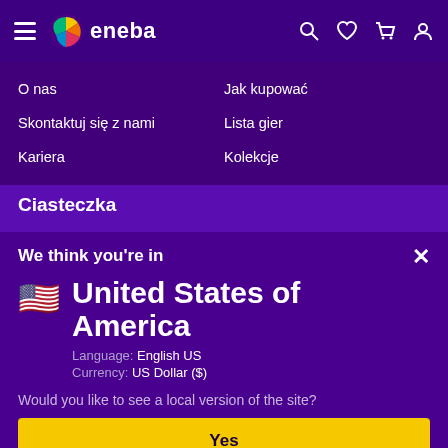eneba navigation bar with hamburger menu, logo, search, wishlist, cart, and user icons
O nas
Jak kupować
Skontaktuj się z nami
Lista gier
Kariera
Kolekcje
Ciasteczka
We think you're in
United States of America
Language: English US
Currency: US Dollar ($)
Would you like to see a local version of the site?
Yes